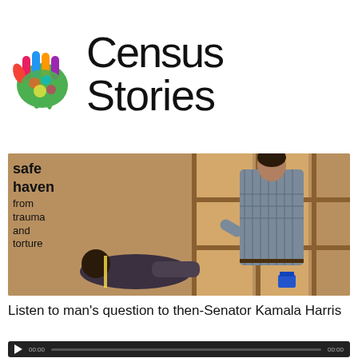[Figure (logo): Census Stories logo with colorful handprint and text 'Census Stories']
[Figure (photo): Photo showing text overlay 'safe haven from trauma and torture' over a vintage photo of a person examining someone lying down in what appears to be a medical or therapeutic setting]
Listen to man's question to then-Senator Kamala Harris
[Figure (screenshot): Audio player bar with play button, timestamp 00:00 on left and 00:00 on right with a progress bar]